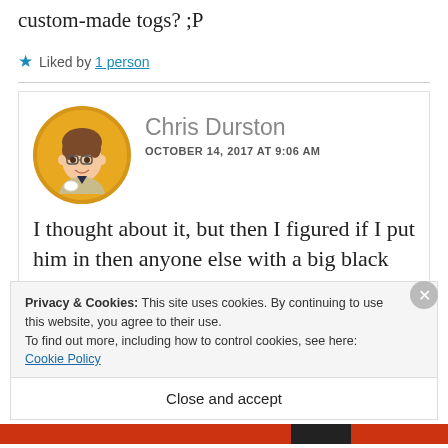custom-made togs? ;P
★ Liked by 1 person
Chris Durston
OCTOBER 14, 2017 AT 9:06 AM
I thought about it, but then I figured if I put him in then anyone else with a big black leather trench coat should go in too! I'll probably
Privacy & Cookies: This site uses cookies. By continuing to use this website, you agree to their use.
To find out more, including how to control cookies, see here: Cookie Policy
Close and accept